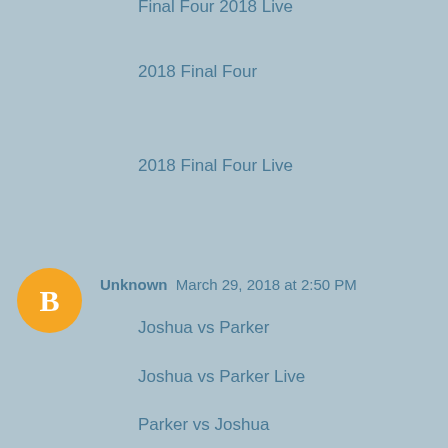Final Four 2018 Live
2018 Final Four
2018 Final Four Live
NCAA Men's Final Four
2018 NCAA Tournament
2018 NCAA Men's Final Four
Reply
Unknown  March 29, 2018 at 2:50 PM
Joshua vs Parker
Joshua vs Parker Live
Parker vs Joshua
Joshua vs Parker Live Stream